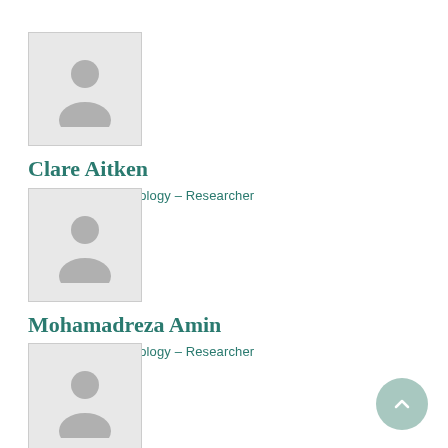[Figure (photo): Placeholder avatar silhouette for Clare Aitken]
Clare Aitken
Erasmus MC, Pathology – Researcher
[Figure (photo): Placeholder avatar silhouette for Mohamadreza Amin]
Mohamadreza Amin
Erasmus MC, Pathology – Researcher
[Figure (photo): Placeholder avatar silhouette for Peggy Atmodimedjo]
Peggy Atmodimedjo
Erasmus MC, Pathology – Other